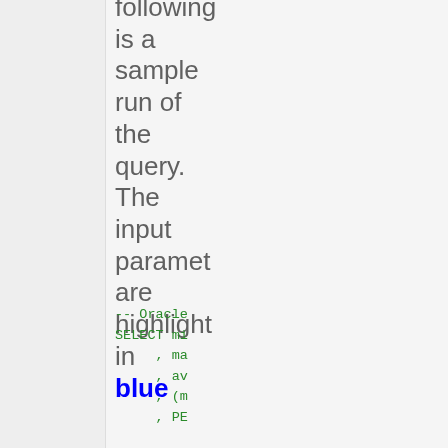following is a sample run of the query. The input parameters are highlighted in blue
-- Oracle
SELECT mi
     , ma
     , av
     , (m
     , PE

     , PE

     , PE